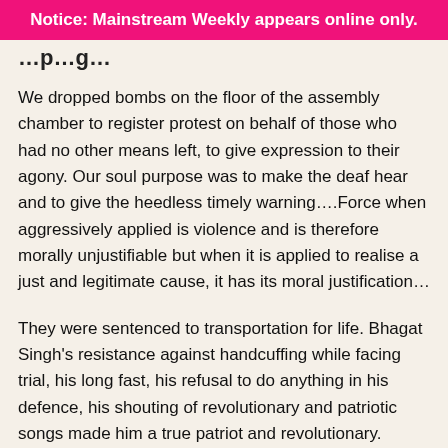Notice: Mainstream Weekly appears online only.
We dropped bombs on the floor of the assembly chamber to register protest on behalf of those who had no other means left, to give expression to their agony. Our soul purpose was to make the deaf hear and to give the heedless timely warning….Force when aggressively applied is violence and is therefore morally unjustifiable but when it is applied to realise a just and legitimate cause, it has its moral justification…
They were sentenced to transportation for life. Bhagat Singh's resistance against handcuffing while facing trial, his long fast, his refusal to do anything in his defence, his shouting of revolutionary and patriotic songs made him a true patriot and revolutionary. Nabbing the two, the police produced them before the trial court in Delhi.
Bhagat Singh's heroism and fearlessness come out most